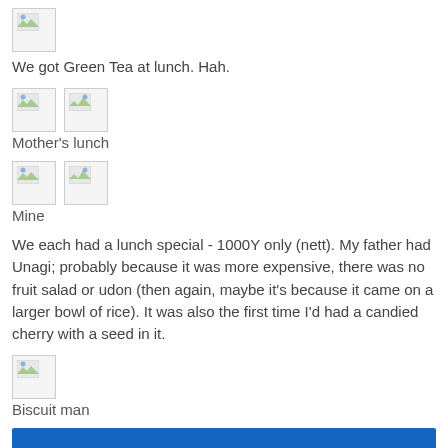[Figure (photo): Single image placeholder at top of page]
We got Green Tea at lunch. Hah.
[Figure (photo): Two image placeholders side by side - Mother's lunch]
Mother's lunch
[Figure (photo): Two image placeholders side by side - Mine]
Mine
We each had a lunch special - 1000Y only (nett). My father had Unagi; probably because it was more expensive, there was no fruit salad or udon (then again, maybe it's because it came on a larger bowl of rice). It was also the first time I'd had a candied cherry with a seed in it.
[Figure (photo): Single image placeholder - Biscuit man]
Biscuit man
[Figure (other): Blue bar at bottom of page]